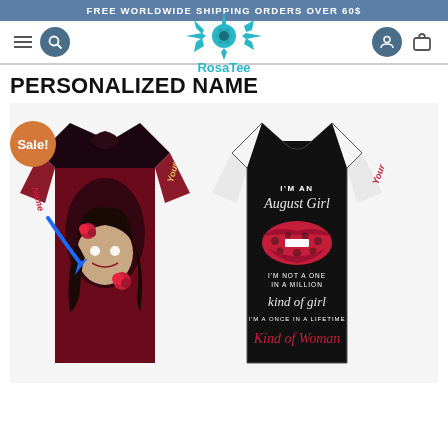FREE WORLDWIDE SHIPPING ORDERS OVER 60$
[Figure (logo): RosaTee brand logo with teal rose and star design, navigation bar with hamburger menu, search icon, user icon, and cart icon]
PERSONALIZED NAME
Sale!
[Figure (photo): Two personalized t-shirts side by side. Left shirt features sugar skull girl artwork in red/dark tones with 'Name' text on sleeve. Right shirt is black/white with red leopard print lips artwork and text reading: I'M AN August Girl I'M NOT A ONE IN A MILLION kind of girl I'M A ONCE IN A LIFETIME Kind of Woman. Both sleeves show 'Your' personalization placeholder.]